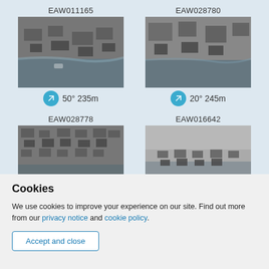[Figure (photo): Aerial photograph EAW011165, 50° 235m, black and white aerial view of coastal urban area]
[Figure (photo): Aerial photograph EAW028780, 20° 245m, black and white aerial view of coastal urban area]
[Figure (photo): Aerial photograph EAW028778, black and white aerial view of dense urban area]
[Figure (photo): Aerial photograph EAW016642, black and white aerial view of coastal urban area]
Cookies
We use cookies to improve your experience on our site. Find out more from our privacy notice and cookie policy.
Accept and close